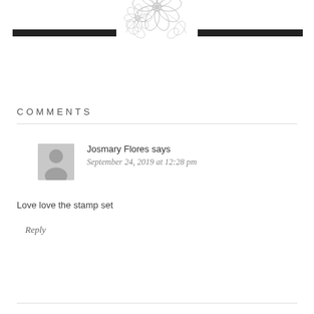[Figure (illustration): Floral divider illustration with two flowers and leaves, flanked by two thick horizontal black bars on either side]
COMMENTS
Josmary Flores says
September 24, 2019 at 12:28 pm
Love love the stamp set
Reply